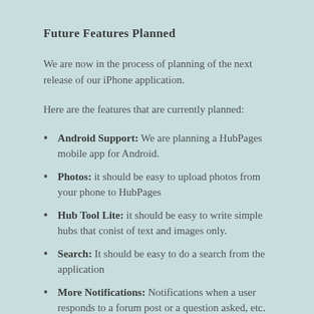Future Features Planned
We are now in the process of planning of the next release of our iPhone application.
Here are the features that are currently planned:
Android Support: We are planning a HubPages mobile app for Android.
Photos: it should be easy to upload photos from your phone to HubPages
Hub Tool Lite: it should be easy to write simple hubs that conist of text and images only.
Search: It should be easy to do a search from the application
More Notifications: Notifications when a user responds to a forum post or a question asked, etc.